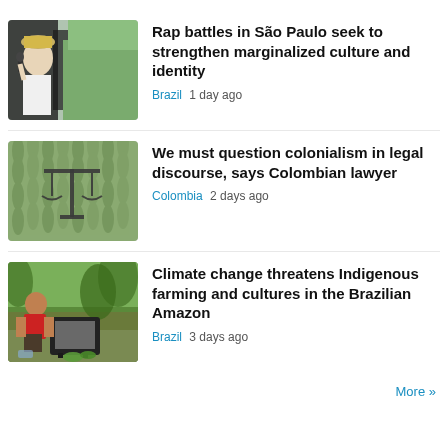[Figure (photo): A man holding a microphone near his mouth, wearing a white shirt and hat, performing rap outdoors.]
Rap battles in São Paulo seek to strengthen marginalized culture and identity
Brazil  1 day ago
[Figure (photo): A stylized image showing a balance/scale symbol overlaid on a green leafy pattern background.]
We must question colonialism in legal discourse, says Colombian lawyer
Colombia  2 days ago
[Figure (photo): A man in a red shirt crouching next to an old television set outdoors, surrounded by plants and vegetables.]
Climate change threatens Indigenous farming and cultures in the Brazilian Amazon
Brazil  3 days ago
More »